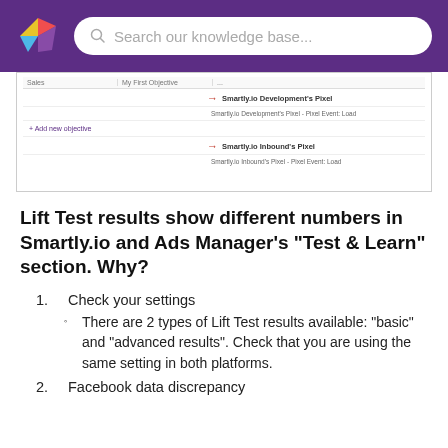Search our knowledge base...
[Figure (screenshot): Screenshot of a pixel selection dropdown UI showing 'Smartly.io Development's Pixel' and 'Smartly.io Inbound's Pixel' options with red arrows pointing to each]
Lift Test results show different numbers in Smartly.io and Ads Manager's "Test & Learn" section. Why?
1. Check your settings
There are 2 types of Lift Test results available: "basic" and "advanced results". Check that you are using the same setting in both platforms.
2. Facebook data discrepancy